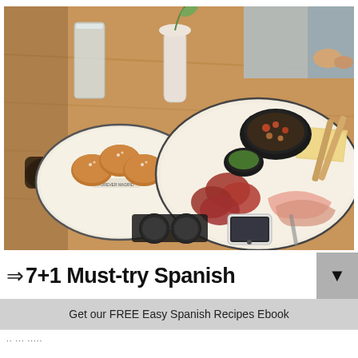[Figure (photo): Overhead view of a wooden table with Spanish tapas: a plate of fried croquetas dusted with powdered sugar on the left, a large charcuterie board with sliced salami, prosciutto, cheese, pickles and a bowl of nuts on the right, a white ceramic vase with a green leaf, a glass of water, and sunglasses and a smartphone in the foreground.]
⇒ 7+1 Must-try Spanish
Get our FREE Easy Spanish Recipes Ebook